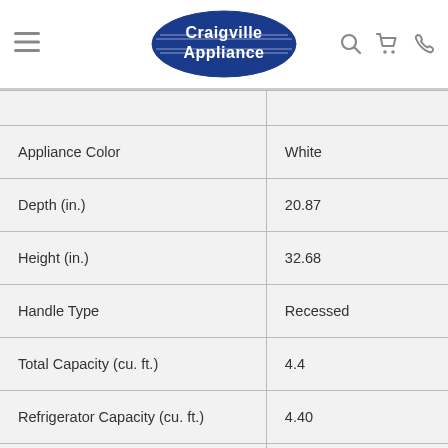[Figure (logo): Craigville Appliance oval logo in blue with white text and horizontal lines]
| Specification | Value |
| --- | --- |
| Appliance Color | White |
| Depth (in.) | 20.87 |
| Height (in.) | 32.68 |
| Handle Type | Recessed |
| Total Capacity (cu. ft.) | 4.4 |
| Refrigerator Capacity (cu. ft.) | 4.40 |